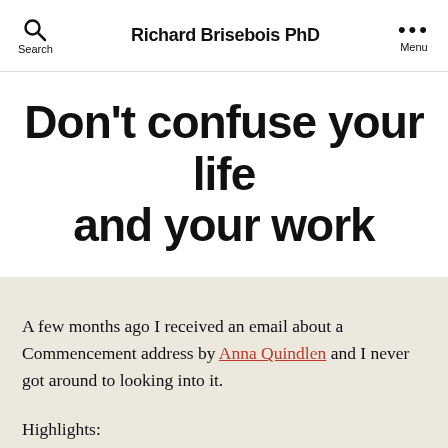Search   Richard Brisebois PhD   Menu
Don't confuse your life and your work
A few months ago I received an email about a Commencement address by Anna Quindlen and I never got around to looking into it.
Highlights: